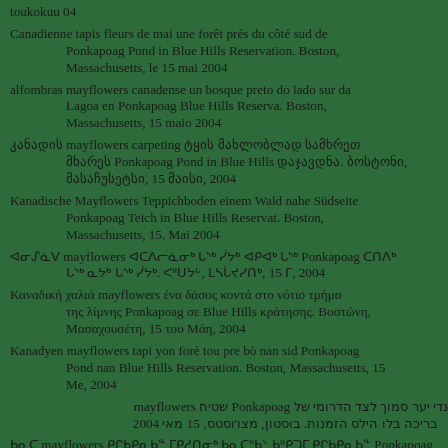toukokuu 04
Canadienne tapis fleurs de mai une forêt près du côté sud de Ponkapoag Pond in Blue Hills Reservation. Boston, Massachusetts, le 15 mai 2004
alfombras mayflowers canadense un bosque preto do lado sur da Lagoa en Ponkapoag Blue Hills Reserva. Boston, Massachusetts, 15 maio 2004
კანადის mayflowers carpeting ტყის მახლობლად სამხრეთ მხარეს Ponkapoag Pond in Blue Hills დაჯავდნა. ბოსტონი, მასაჩუსეტსი, 15 მაისი, 2004
Kanadische Mayflowers Teppichboden einem Wald nahe Südseite Ponkapoag Teich in Blue Hills Reservat. Boston, Massachusetts, 15. Mai 2004
ᐊᓂᔑᓈᐯ mayflowers ᐊᑕᐱᓕᓈᓂᒃ ᒐᔅᒃ ᓰᔭᒃ ᐊᑭᐊᒃ ᒐᔅᒃ Ponkapoag ᑕᑎᐱᒃ ᒐᔅᒃ ᓇᔭᒃ ᒐᔅᒃ. ᐸᐦᑌᔭᒡ, ᒪᓴᒑᔪᓯᑎᒃ, 15 ᒥ, 2004
Καναδική χαλιά mayflowers ένα δάσος κοντά στο νότιο τμήμα της λίμνης Ponkapoag σε Blue Hills κράτησης. Βοστώνη, Μασαχουσέτη, 15 του Μάη, 2004
Kanadyen mayflowers tapi yon forè tou pre bò nan sid Ponkapoag Pond nan Blue Hills Reservation. Boston, Massachusetts, 15 Me, 2004
הקנדי יער סמוך לצד הדרומי של Ponkapoag שטיח mayflowers בריכה בלו הילס הזמנות. בוסטון, מצו'וסטס, 15 מאי 2004
ᑲᓇᑕ mayflowers ᑭᒋᑲᑭᓇᑲᓐ ᒥᑭᓱᑎᓂᒃ ᑲᓇᑕᐢᑲᐠ ᑲᐦᑭᑐᒥ ᑭᒋᑲᑭᓇᑲᓐ Ponkapoag ᑭᒋᑲᓇᐢᑐᑎᓐ ᑭᒋᑲᑭ ᓂᒋᑲᓐ ᓂᒋᑲ. ᐸᐦᑌᔭᒡ, ᒪᓴᒑᔪᓯᑎᒃ, 15, ᒥ 2004